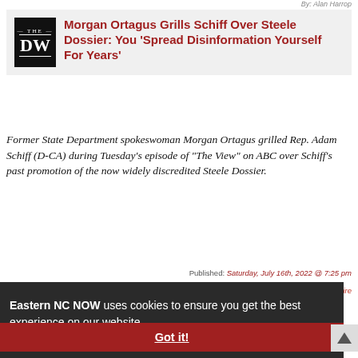By: Alan Harrop
Morgan Ortagus Grills Schiff Over Steele Dossier: You ‘Spread Disinformation Yourself For Years’
Former State Department spokeswoman Morgan Ortagus grilled Rep. Adam Schiff (D-CA) during Tuesday’s episode of “The View” on ABC over Schiff’s past promotion of the now widely discredited Steele Dossier.
Published: Saturday, July 16th, 2022 @ 7:25 pm
By: Daily Wire
Eastern NC NOW uses cookies to ensure you get the best experience on our website. Learn More
Got it!
firms for allegedly supporting the Russian military...